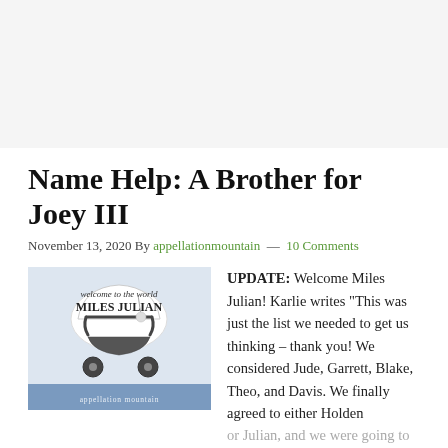Name Help: A Brother for Joey III
November 13, 2020 By appellationmountain — 10 Comments
[Figure (photo): Welcome to the world Miles Julian — baby stroller image with text overlay and appellation mountain watermark]
UPDATE: Welcome Miles Julian! Karlie writes “This was just the list we needed to get us thinking – thank you! We considered Jude, Garrett, Blake, Theo, and Davis. We finally agreed to either Holden or Julian, and we were going to decide after we met him. But then, in the hospital, my